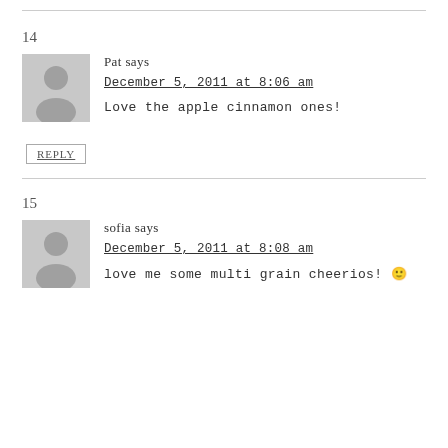14
Pat says
December 5, 2011 at 8:06 am
Love the apple cinnamon ones!
REPLY
15
sofia says
December 5, 2011 at 8:08 am
love me some multi grain cheerios! 🙂